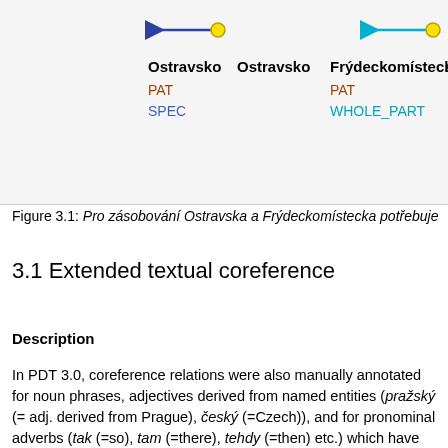[Figure (other): Dependency tree diagram showing Czech words Ostravsko, Ostravsko, Frýdeckomístecko with PAT, SPEC, and WHOLE_PART relation labels, with arrows and yellow circle nodes.]
Figure 3.1: Pro zásobování Ostravska a Frýdeckomístecka potřebuje
3.1 Extended textual coreference
Description
In PDT 3.0, coreference relations were also manually annotated for noun phrases, adjectives derived from named entities (pražský (= adj. derived from Prague), český (=Czech)), and for pronominal adverbs (tak (=so), tam (=there), tehdy (=then) etc.) which have explicit antecedents in previous (ev. subsequent) context.
The textual coreference now consists of pronominal and zero coreference (completed for PDT 2.0) and extended nominal coreference. The coreference annotation is captured in a structured attribute coref_text at the start node of the relation, containing the identifier of its antecedent and the type.
In PDT 3.0, coreference relations of the following